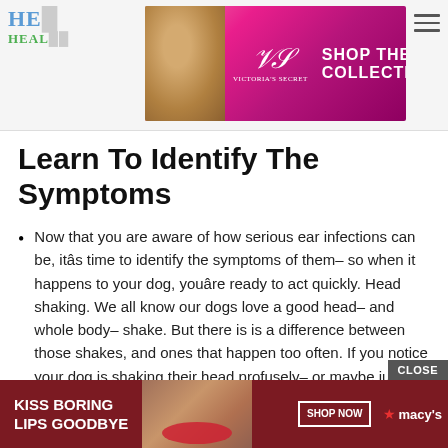HE... HEAL... [Logo area with Victoria's Secret advertisement banner: SHOP THE COLLECTION / SHOP NOW]
Learn To Identify The Symptoms
Now that you are aware of how serious ear infections can be, itâs time to identify the symptoms of them– so when it happens to your dog, youâre ready to act quickly. Head shaking. We all know our dogs love a good head– and whole body– shake. But there is is a difference between those shakes, and ones that happen too often. If you notice your dog is shaking their head profusely– or maybe just at strange times– this might be a sign of something else. If you notice the frequency begins to increase, itâs time to take a closer look.
Ode... [partially visible, obscured by ad]